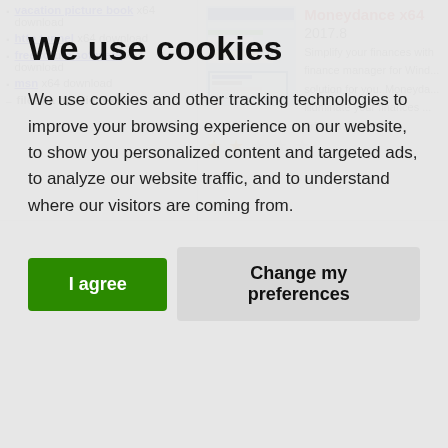vacation picture book x64 download
http tunnel x64 download
free forum software x64 download
msn x64 download
filezilla ftp client x64
[Figure (screenshot): Screenshot of Moneydance financial software interface]
Moneydance x64 2017.8 Simplify your finances with finance manager for Wind... solution for you. Moneyda... illuminate your finances ... Trialware | $49.99
We use cookies
We use cookies and other tracking technologies to improve your browsing experience on our website, to show you personalized content and targeted ads, to analyze our website traffic, and to understand where our visitors are coming from.
I agree   Change my preferences